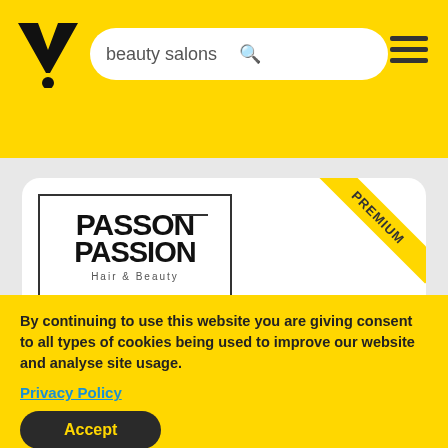[Figure (screenshot): Yellow top navigation bar with Yell.com V logo, search bar containing 'beauty salons', magnifying glass icon, and hamburger menu icon]
[Figure (logo): Passion Hair and Beauty logo inside bordered box]
Passion Hair
beauty salons
By continuing to use this website you are giving consent to all types of cookies being used to improve our website and analyse site usage.
Privacy Policy
Accept